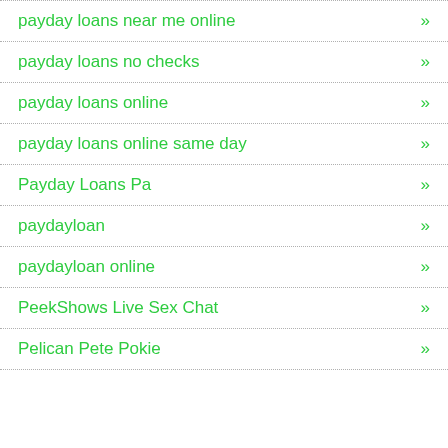payday loans near me online »
payday loans no checks »
payday loans online »
payday loans online same day »
Payday Loans Pa »
paydayloan »
paydayloan online »
PeekShows Live Sex Chat »
Pelican Pete Pokie »